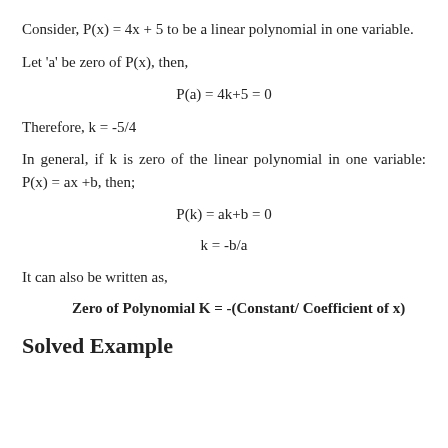Consider, P(x) = 4x + 5 to be a linear polynomial in one variable.
Let 'a' be zero of P(x), then,
Therefore, k = -5/4
In general, if k is zero of the linear polynomial in one variable: P(x) = ax +b, then;
It can also be written as,
Zero of Polynomial K = -(Constant/ Coefficient of x)
Solved Example